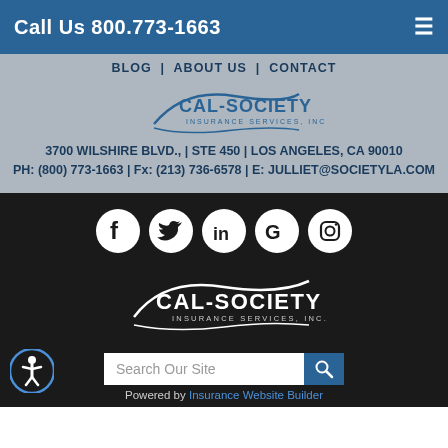Call Us 800.773-1663
BLOG | ABOUT US | CONTACT
[Figure (logo): Cal-Society Insurance Services, Inc. logo in gray header area]
3700 WILSHIRE BLVD., | STE 450 | LOS ANGELES, CA 90010
PH: (800) 773-1663 | Fx: (213) 736-6578 | E: JULLIET@SOCIETYLA.COM
[Figure (infographic): Row of 5 social media icons: Facebook, Twitter, LinkedIn, Google, Instagram — white on dark circular backgrounds]
[Figure (logo): Cal-Society Insurance Services, Inc. white logo on dark background]
Search Our Site
Powered by Insurance Website Builder